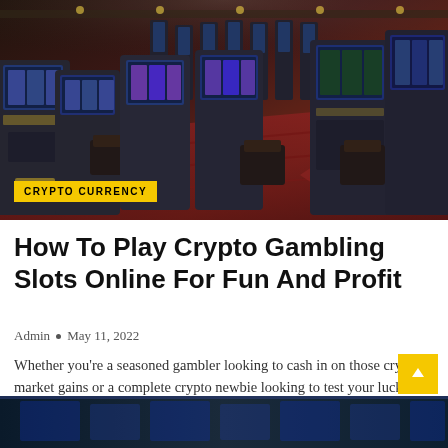[Figure (photo): Interior of a casino showing rows of slot machines with colorful screens, chairs, and red patterned carpet under warm lighting]
CRYPTO CURRENCY
How To Play Crypto Gambling Slots Online For Fun And Profit
Admin • May 11, 2022
Whether you're a seasoned gambler looking to cash in on those crypto market gains or a complete crypto newbie looking to test your luck at one of the more elaborate crypto gambling sites out there, there's a slot machine out there that's...
[Figure (photo): Bottom portion of another casino or gambling related image, partially visible]